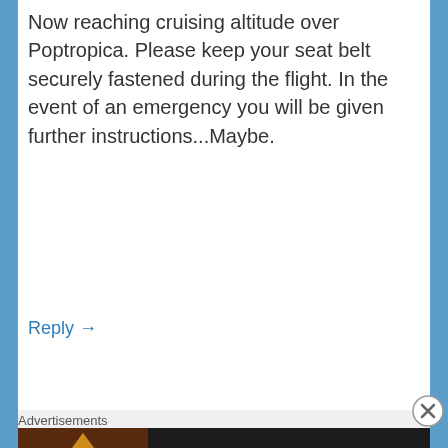Now reaching cruising altitude over Poptropica. Please keep your seat belt securely fastened during the flight. In the event of an emergency you will be given further instructions...Maybe.
Reply →
PURPLE SWORD
May 12, 2009 at 3:52 am
The binary code says Liftoff.
Advertisements